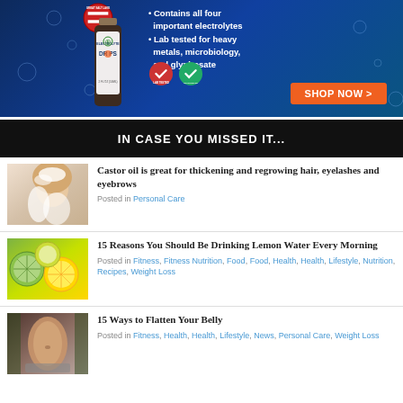[Figure (photo): Advertisement banner for Electrolyte Drops product with blue water background, bottle image, bullet points about electrolytes and lab testing, badges, and orange SHOP NOW button]
IN CASE YOU MISSED IT...
[Figure (photo): Woman washing her hair]
Castor oil is great for thickening and regrowing hair, eyelashes and eyebrows
Posted in Personal Care
[Figure (photo): Sliced lemon and lime citrus fruits]
15 Reasons You Should Be Drinking Lemon Water Every Morning
Posted in Fitness, Fitness Nutrition, Food, Food, Health, Health, Lifestyle, Nutrition, Recipes, Weight Loss
[Figure (photo): Woman's flat belly/midsection]
15 Ways to Flatten Your Belly
Posted in Fitness, Health, Health, Lifestyle, News, Personal Care, Weight Loss